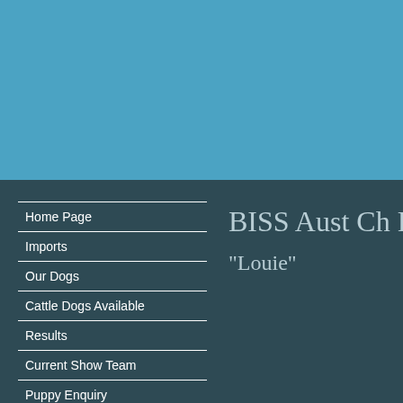[Figure (photo): Solid teal/steel blue background at the top of the page, likely where a header image or banner photo would appear.]
Home Page
Imports
Our Dogs
Cattle Dogs Available
Results
Current Show Team
Puppy Enquiry
Our Exports
BISS Aust Ch Fer
"Louie"